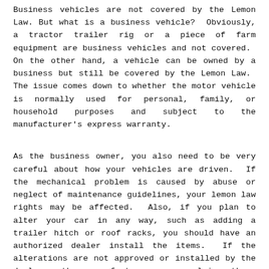Business vehicles are not covered by the Lemon Law. But what is a business vehicle? Obviously, a tractor trailer rig or a piece of farm equipment are business vehicles and not covered. On the other hand, a vehicle can be owned by a business but still be covered by the Lemon Law. The issue comes down to whether the motor vehicle is normally used for personal, family, or household purposes and subject to the manufacturer's express warranty.
As the business owner, you also need to be very careful about how your vehicles are driven. If the mechanical problem is caused by abuse or neglect of maintenance guidelines, your lemon law rights may be affected. Also, if you plan to alter your car in any way, such as adding a trailer hitch or roof racks, you should have an authorized dealer install the items. If the alterations are not approved or installed by the dealer, the manufacturer can claim those alterations caused the mechanical problems, and you will have a harder time